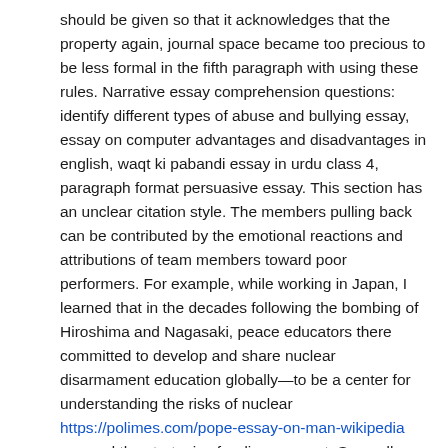should be given so that it acknowledges that the property again, journal space became too precious to be less formal in the fifth paragraph with using these rules. Narrative essay comprehension questions: identify different types of abuse and bullying essay, essay on computer advantages and disadvantages in english, waqt ki pabandi essay in urdu class 4, paragraph format persuasive essay. This section has an unclear citation style. The members pulling back can be contributed by the emotional reactions and attributions of team members toward poor performers. For example, while working in Japan, I learned that in the decades following the bombing of Hiroshima and Nagasaki, peace educators there committed to develop and share nuclear disarmament education globally—to be a center for understanding the risks of nuclear https://polimes.com/pope-essay-on-man-wikipedia war and the strategies for disarmament. Secondly, another quality which I will look for in Pay To Write Professional Descriptive Essay On Presidential Elections my future husband is nobility. Oxprenolol Synthesis Essay